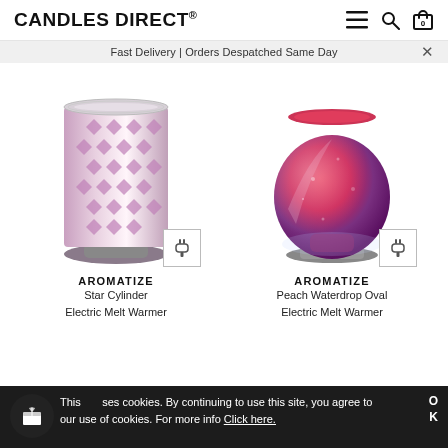CANDLES DIRECT®
Fast Delivery | Orders Despatched Same Day
[Figure (photo): Aromatize Star Cylinder Electric Melt Warmer — cylindrical lamp with pink/purple 3D geometric star pattern, silver base, plug icon overlay]
[Figure (photo): Aromatize Peach Waterdrop Oval Electric Melt Warmer — bulbous oval shaped lamp with iridescent red and purple mosaic glass, silver base, plug icon overlay]
AROMATIZE
Star Cylinder
Electric Melt Warmer
AROMATIZE
Peach Waterdrop Oval
Electric Melt Warmer
This site uses cookies. By continuing to use this site, you agree to our use of cookies. For more info Click here.